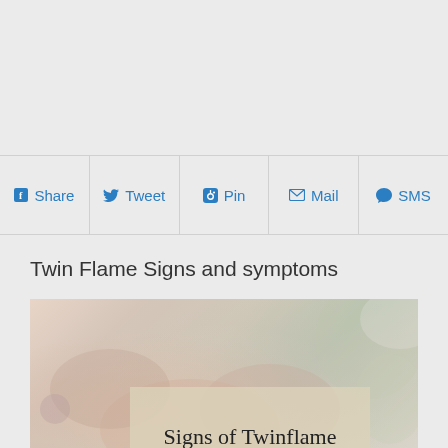Share  Tweet  Pin  Mail  SMS
Twin Flame Signs and symptoms
[Figure (photo): Blurred photo of two people holding hands with a semi-transparent beige overlay box containing the text 'Signs of Twinflame Relationship' in serif font.]